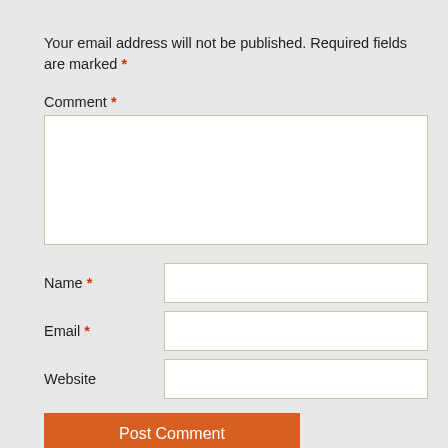Your email address will not be published. Required fields are marked *
Comment *
Name *
Email *
Website
Post Comment
Add me to the monthly email update list.